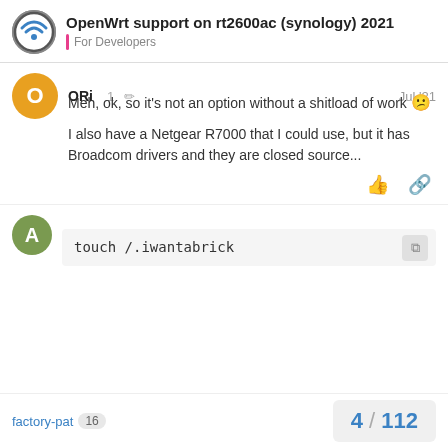OpenWrt support on rt2600ac (synology) 2021 — For Developers
ORi 1 Jul '21
Meh, ok, so it's not an option without a shitload of work 😕
I also have a Netgear R7000 that I could use, but it has Broadcom drivers and they are closed source...
anon50098793 Jul '21
factory-pat 16 — 4 / 112